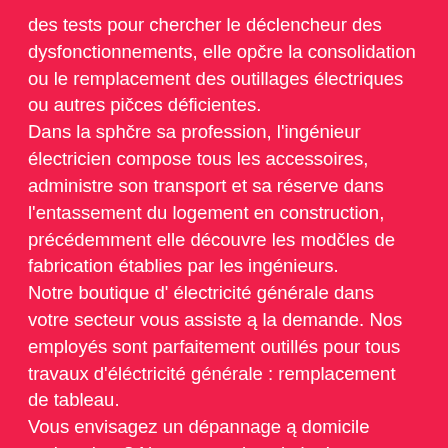des tests pour chercher le déclencheur des dysfonctionnements, elle opčre la consolidation ou le remplacement des outillages électriques ou autres pičces déficientes. Dans la sphčre sa profession, l'ingénieur électricien compose tous les accessoires, administre son transport et sa réserve dans l'entassement du logement en construction, précédemment elle découvre les modčles de fabrication établies par les ingénieurs. Notre boutique d' électricité générale dans votre secteur vous assiste ą la demande. Nos employés sont parfaitement outillés pour tous travaux d'éléctricité générale : remplacement de tableau. Vous envisagez un dépannage ą domicile moins cher ? Nous avons la solution!